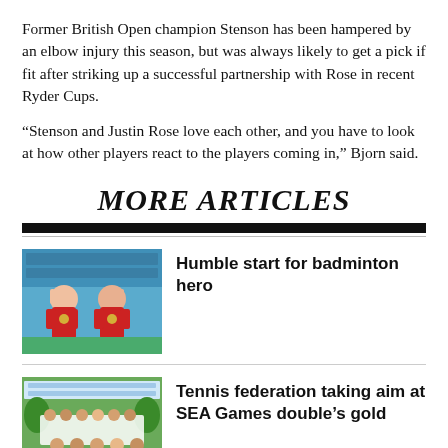Former British Open champion Stenson has been hampered by an elbow injury this season, but was always likely to get a pick if fit after striking up a successful partnership with Rose in recent Ryder Cups.
“Stenson and Justin Rose love each other, and you have to look at how other players react to the players coming in,” Bjorn said.
MORE ARTICLES
[Figure (photo): Two young female badminton players in red uniforms posing with medals at a competition backdrop]
Humble start for badminton hero
[Figure (photo): Group photo of tennis players and coaches on a tennis court, posing in front of a banner]
Tennis federation taking aim at SEA Games double’s gold